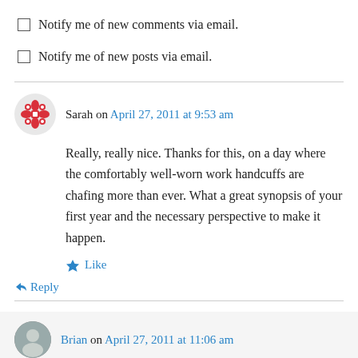Notify me of new comments via email.
Notify me of new posts via email.
Sarah on April 27, 2011 at 9:53 am
Really, really nice. Thanks for this, on a day where the comfortably well-worn work handcuffs are chafing more than ever. What a great synopsis of your first year and the necessary perspective to make it happen.
Like
Reply
Brian on April 27, 2011 at 11:06 am